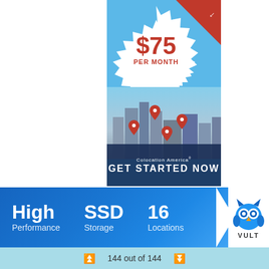[Figure (infographic): Colocation America advertisement banner. Shows a price badge '$75 PER MONTH' on a starburst shape over a sky-blue background with a city skyline photo and red location pins. Bottom overlay shows 'Colocation America GET STARTED NOW']
High Performance
SSD Storage
16 Locations
[Figure (logo): VULTR logo - blue owl mascot with text VULTR]
144 out of 144